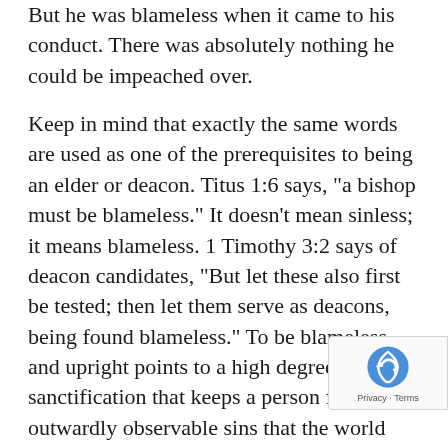But he was blameless when it came to his conduct. There was absolutely nothing he could be impeached over.
Keep in mind that exactly the same words are used as one of the prerequisites to being an elder or deacon. Titus 1:6 says, "a bishop must be blameless." It doesn't mean sinless; it means blameless. 1 Timothy 3:2 says of deacon candidates, "But let these also first be tested; then let them serve as deacons, being found blameless." To be blameless and upright points to a high degree of sanctification that keeps a person from outwardly observable sins that the world can accuse you of.
Of course, that is the whole point of the legal